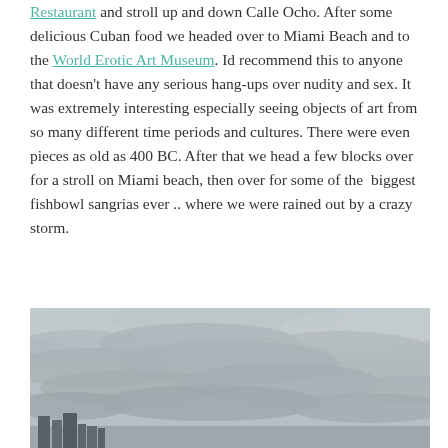Restaurant and stroll up and down Calle Ocho.  After some delicious Cuban food we headed over to Miami Beach and to the World Erotic Art Museum.  Id recommend this to anyone that doesn't have any serious hang-ups over nudity and sex.  It was extremely interesting especially seeing objects of art from so many different time periods and cultures.  There were even pieces as old as 400 BC.  After that we head a few blocks over for a stroll on Miami beach, then over for some of the  biggest fishbowl sangrias ever .. where we were rained out by a crazy storm.
[Figure (photo): Outdoor photo showing a dark overcast stormy sky with thick grey clouds. In the bottom left corner there are several tall buildings/skyscrapers visible on the horizon.]